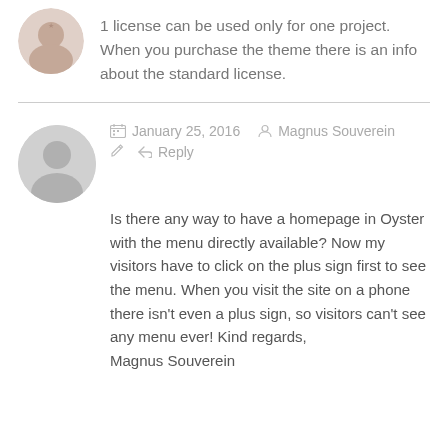1 license can be used only for one project. When you purchase the theme there is an info about the standard license.
January 25, 2016   Magnus Souverein
Reply
Is there any way to have a homepage in Oyster with the menu directly available? Now my visitors have to click on the plus sign first to see the menu. When you visit the site on a phone there isn't even a plus sign, so visitors can't see any menu ever! Kind regards,
Magnus Souverein